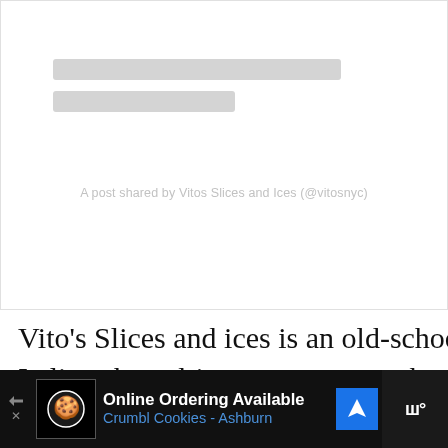[Figure (screenshot): Instagram embed placeholder with two grey skeleton loading bars and caption text 'A post shared by Vitos Slices and Ices (@vitosnyc)']
A post shared by Vitos Slices and Ices (@vitosnyc)
Vito’s Slices and ices is an old-school New York pizza and Italian shaved-ice restaurant on the cusp between the Garment District and Midtown West. I loved the 50s-style Italian diner décor with bright green painted exterior and a giant red and white pizza sign. It’s exactly what one imagines when asked to picture a classic New York pizzeria.
[Figure (screenshot): Advertisement bar at bottom: Online Ordering Available, Crumbl Cookies - Ashburn, with navigation icon and logo]